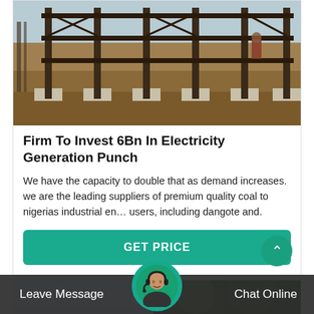[Figure (photo): Construction site photo showing steel frame columns/pillars under construction with dirt ground and concrete footings]
Firm To Invest 6Bn In Electricity Generation Punch
We have the capacity to double that as demand increases. we are the leading suppliers of premium quality coal to nigerias industrial en… users, including dangote and.
GET PRICE
[Figure (photo): Partial view of trees and sky - second article card image]
Leave Message
Chat Online